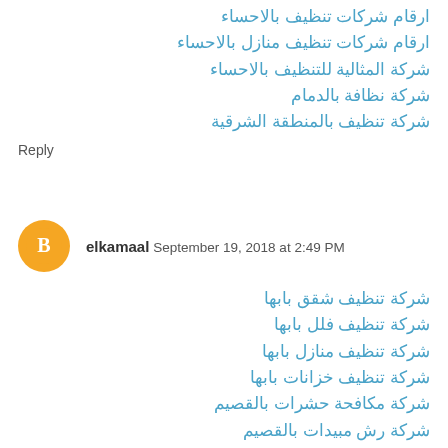ارقام شركات تنظيف بالاحساء
ارقام شركات تنظيف منازل بالاحساء
شركة المثالية للتنظيف بالاحساء
شركة نظافة بالدمام
شركة تنظيف بالمنطقة الشرقية
Reply
elkamaal September 19, 2018 at 2:49 PM
شركة تنظيف شقق بابها
شركة تنظيف فلل بابها
شركة تنظيف منازل بابها
شركة تنظيف خزانات بابها
شركة مكافحة حشرات بالقصيم
شركة رش مبيدات بالقصيم
شركة مكافحة النمل الابيض بالقصيم
شركة تنظيف بالقصيم
شركة تنظيف فلل بالقصيم
شركة تنظيف شقق بالقصيم
شركة تنظيف سجاد بالقصيم